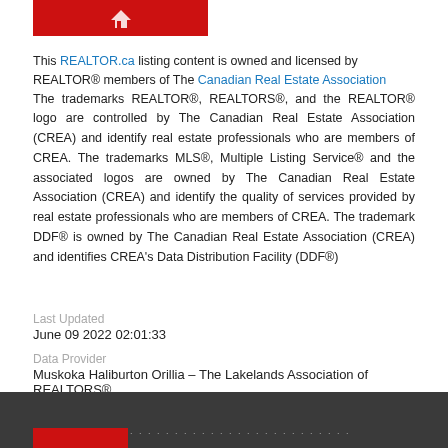[Figure (logo): RE/MAX logo red bar with house icon]
This REALTOR.ca listing content is owned and licensed by REALTOR® members of The Canadian Real Estate Association
The trademarks REALTOR®, REALTORS®, and the REALTOR® logo are controlled by The Canadian Real Estate Association (CREA) and identify real estate professionals who are members of CREA. The trademarks MLS®, Multiple Listing Service® and the associated logos are owned by The Canadian Real Estate Association (CREA) and identify the quality of services provided by real estate professionals who are members of CREA. The trademark DDF® is owned by The Canadian Real Estate Association (CREA) and identifies CREA's Data Distribution Facility (DDF®)
Last Updated
June 09 2022 02:01:33
Data Provider
Muskoka Haliburton Orillia – The Lakelands Association of REALTORS®
Listing Office
Anchor Realty, Brokerage, Coldwater - M416
RealtyPress WordPress CREA DDF® Plugin